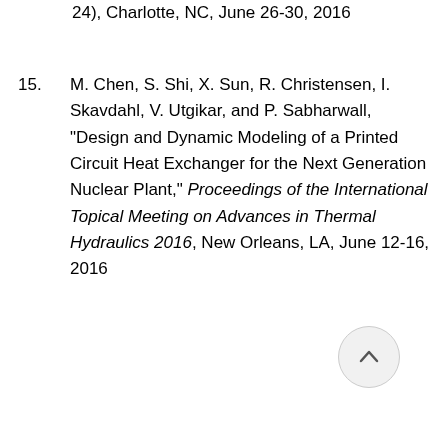24), Charlotte, NC, June 26-30, 2016
15. M. Chen, S. Shi, X. Sun, R. Christensen, I. Skavdahl, V. Utgikar, and P. Sabharwall, "Design and Dynamic Modeling of a Printed Circuit Heat Exchanger for the Next Generation Nuclear Plant," Proceedings of the International Topical Meeting on Advances in Thermal Hydraulics 2016, New Orleans, LA, June 12-16, 2016